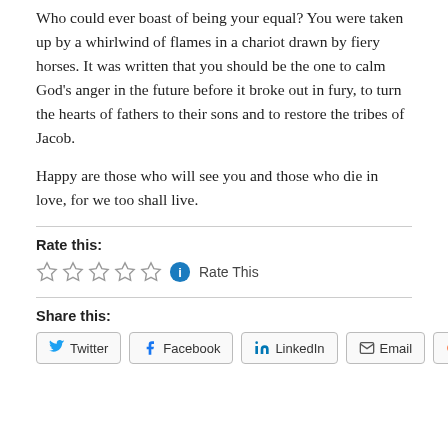Who could ever boast of being your equal? You were taken up by a whirlwind of flames in a chariot drawn by fiery horses. It was written that you should be the one to calm God's anger in the future before it broke out in fury, to turn the hearts of fathers to their sons and to restore the tribes of Jacob.
Happy are those who will see you and those who die in love, for we too shall live.
Rate this:
[Figure (other): Five empty star rating icons followed by a blue info icon and 'Rate This' text]
Share this:
[Figure (other): Social share buttons: Twitter, Facebook, LinkedIn, Email, Reddit]